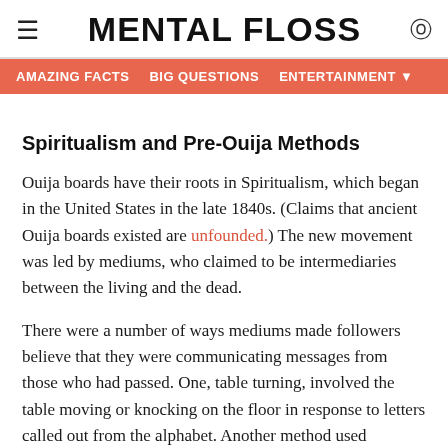MENTAL FLOSS
AMAZING FACTS   BIG QUESTIONS   ENTERTAINMENT
Spiritualism and Pre-Ouija Methods
Ouija boards have their roots in Spiritualism, which began in the United States in the late 1840s. (Claims that ancient Ouija boards existed are unfounded.) The new movement was led by mediums, who claimed to be intermediaries between the living and the dead.
There were a number of ways mediums made followers believe that they were communicating messages from those who had passed. One, table turning, involved the table moving or knocking on the floor in response to letters called out from the alphabet. Another method used planchettes, heart-shaped devices with two wheels at one end and a pencil at the point; users would place their fingers on the device, which would then